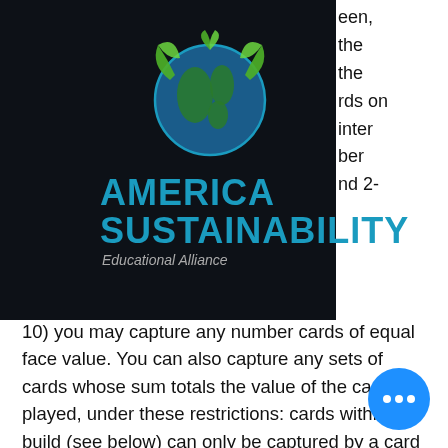[Figure (logo): America Sustainability Educational Alliance logo — globe with green hands icon and blue text on dark background]
10) you may capture any number cards of equal face value. You can also capture any sets of cards whose sum totals the value of the card played, under these restrictions: cards within a build (see below) can only be captured by a card whose value is equal to the value claimed for that build. Example: A 6 is played, you can capture one, two, or three 6s.
Charlene rubush had made it all the way to the bonus round of the popular game show with $16,500 this week. And then, during tuesday's episode,. Lots of games all over the world. The wheel has 24 segments different cash values, prizes, penalties and